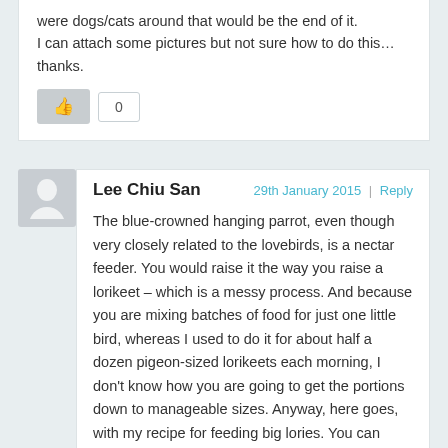were dogs/cats around that would be the end of it.
I can attach some pictures but not sure how to do this…
thanks.
0
Lee Chiu San
29th January 2015 | Reply
The blue-crowned hanging parrot, even though very closely related to the lovebirds, is a nectar feeder. You would raise it the way you raise a lorikeet – which is a messy process. And because you are mixing batches of food for just one little bird, whereas I used to do it for about half a dozen pigeon-sized lorikeets each morning, I don't know how you are going to get the portions down to manageable sizes. Anyway, here goes, with my recipe for feeding big lories. You can adjust the proportions down accordingly for your little bird.
The staple diet would be a couple of slices of soft fruit